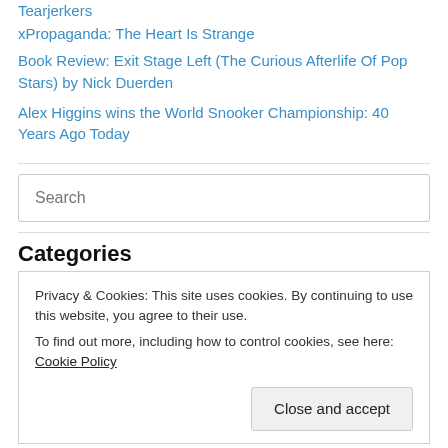Tearjerkers
xPropaganda: The Heart Is Strange
Book Review: Exit Stage Left (The Curious Afterlife Of Pop Stars) by Nick Duerden
Alex Higgins wins the World Snooker Championship: 40 Years Ago Today
Search
Categories
Privacy & Cookies: This site uses cookies. By continuing to use this website, you agree to their use.
To find out more, including how to control cookies, see here: Cookie Policy
Close and accept
1983